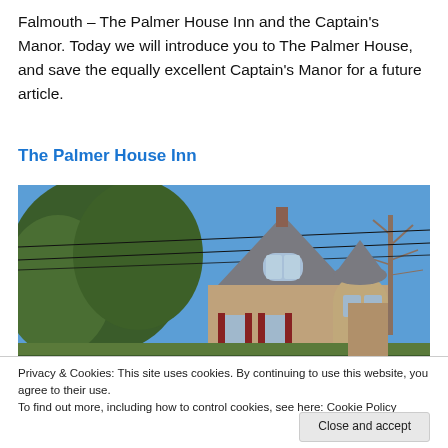Falmouth – The Palmer House Inn and the Captain's Manor. Today we will introduce you to The Palmer House, and save the equally excellent Captain's Manor for a future article.
The Palmer House Inn
[Figure (photo): Exterior photograph of The Palmer House Inn, a Victorian-style shingle home with a turret, red shutters, and trees against a blue sky.]
Privacy & Cookies: This site uses cookies. By continuing to use this website, you agree to their use.
To find out more, including how to control cookies, see here: Cookie Policy